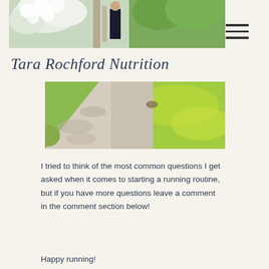[Figure (photo): Top header photo showing a person in black outfit standing among white flowering hydrangea bushes near a wooden structure]
[Figure (other): Hamburger menu icon (three horizontal lines) in the top right corner]
Tara Rochford Nutrition
[Figure (photo): Photo of a concrete sidewalk path with bright green grass lawn alongside it, taken in natural daylight]
I tried to think of the most common questions I get asked when it comes to starting a running routine, but if you have more questions leave a comment in the comment section below!
Happy running!